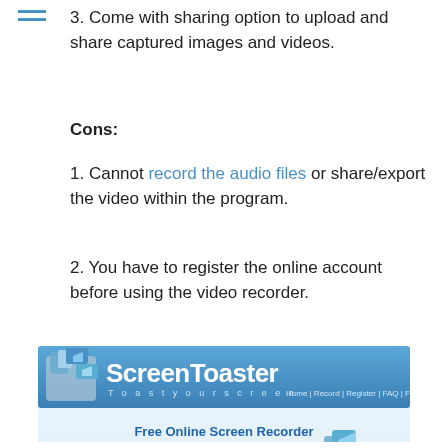3. Come with sharing option to upload and share captured images and videos.
Cons:
1. Cannot record the audio files or share/export the video within the program.
2. You have to register the online account before using the video recorder.
[Figure (screenshot): ScreenToaster website screenshot showing Free Online Screen Recorder interface with Start Recording button.]